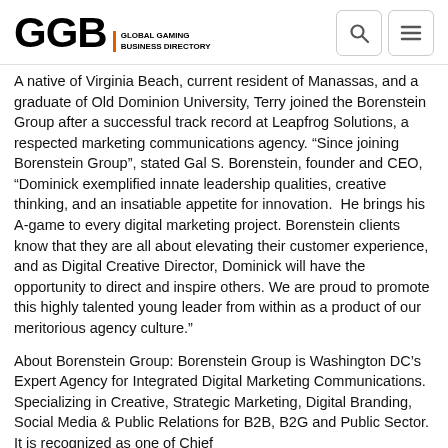GGB GLOBAL GAMING BUSINESS DIRECTORY
A native of Virginia Beach, current resident of Manassas, and a graduate of Old Dominion University, Terry joined the Borenstein Group after a successful track record at Leapfrog Solutions, a respected marketing communications agency. “Since joining Borenstein Group”, stated Gal S. Borenstein, founder and CEO, “Dominick exemplified innate leadership qualities, creative thinking, and an insatiable appetite for innovation.  He brings his A-game to every digital marketing project. Borenstein clients know that they are all about elevating their customer experience, and as Digital Creative Director, Dominick will have the opportunity to direct and inspire others. We are proud to promote this highly talented young leader from within as a product of our meritorious agency culture.”
About Borenstein Group: Borenstein Group is Washington DC’s Expert Agency for Integrated Digital Marketing Communications. Specializing in Creative, Strategic Marketing, Digital Branding, Social Media & Public Relations for B2B, B2G and Public Sector. It is recognized as one of Chief